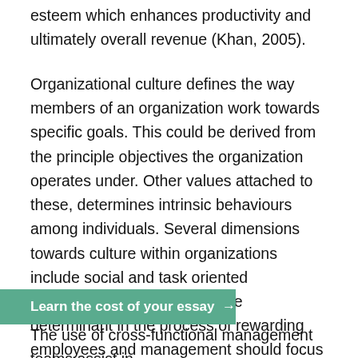esteem which enhances productivity and ultimately overall revenue (Khan, 2005).
Organizational culture defines the way members of an organization work towards specific goals. This could be derived from the principle objectives the organization operates under. Other values attached to these, determines intrinsic behaviours among individuals. Several dimensions towards culture within organizations include social and task oriented dimensions. Culture is ultimate determinant in the process of rewarding employees and management should focus on critical sources of motivation including good pay, enhanced working environment and opportunities for growth. These factors should be closely integrated for the benefit to an organization's productivity (Khan, 2005).
[Figure (infographic): Green banner button with text 'Learn the cost of your essay →']
The use of cross-functional management teams assist in